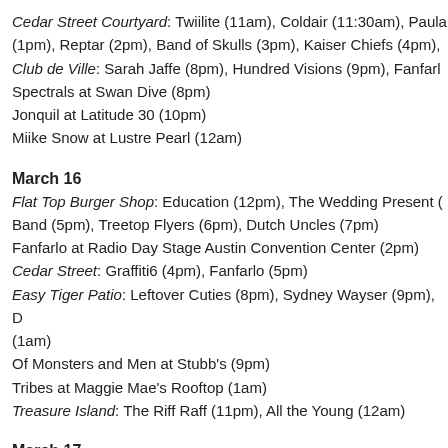Cedar Street Courtyard: Twiilite (11am), Coldair (11:30am), Paula (1pm), Reptar (2pm), Band of Skulls (3pm), Kaiser Chiefs (4pm), Club de Ville: Sarah Jaffe (8pm), Hundred Visions (9pm), Fanfarlo Spectrals at Swan Dive (8pm) Jonquil at Latitude 30 (10pm) Miike Snow at Lustre Pearl (12am)
March 16
Flat Top Burger Shop: Education (12pm), The Wedding Present ( Band (5pm), Treetop Flyers (6pm), Dutch Uncles (7pm) Fanfarlo at Radio Day Stage Austin Convention Center (2pm) Cedar Street: Graffiti6 (4pm), Fanfarlo (5pm) Easy Tiger Patio: Leftover Cuties (8pm), Sydney Wayser (9pm), D (1am) Of Monsters and Men at Stubb's (9pm) Tribes at Maggie Mae's Rooftop (1am) Treasure Island: The Riff Raff (11pm), All the Young (12am)
March 17
Flat Top Burger Shop: Seapony (12pm), The Brute Chorus (1pm) (5pm), The Staves (6pm)